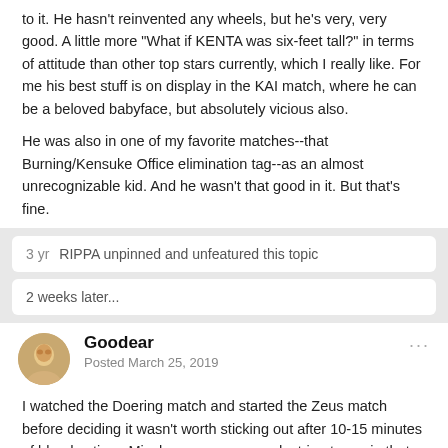to it. He hasn't reinvented any wheels, but he's very, very good. A little more "What if KENTA was six-feet tall?" in terms of attitude than other top stars currently, which I really like. For me his best stuff is on display in the KAI match, where he can be a beloved babyface, but absolutely vicious also.
He was also in one of my favorite matches--that Burning/Kensuke Office elimination tag--as an almost unrecognizable kid. And he wasn't that good in it. But that's fine.
3 yr   RIPPA unpinned and unfeatured this topic
2 weeks later...
Goodear
Posted March 25, 2019
I watched the Doering match and started the Zeus match before deciding it wasn't worth sticking out after 10-15 minutes of bland action.  Miyahara seems so pedestrian to me in that he didn't